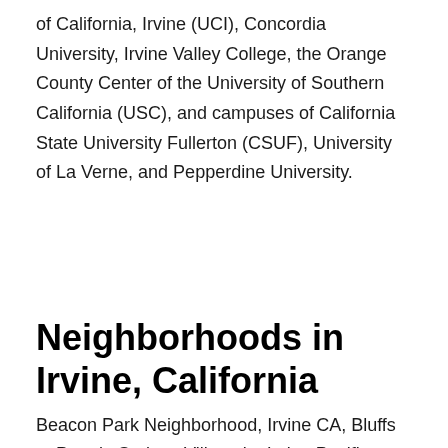of California, Irvine (UCI), Concordia University, Irvine Valley College, the Orange County Center of the University of Southern California (USC), and campuses of California State University Fullerton (CSUF), University of La Verne, and Pepperdine University.
Neighborhoods in Irvine, California
Beacon Park Neighborhood, Irvine CA, Bluffs at Portola Springs Village by Irvine Pacific, CalAtlantic Homes at Castillo at Travata,